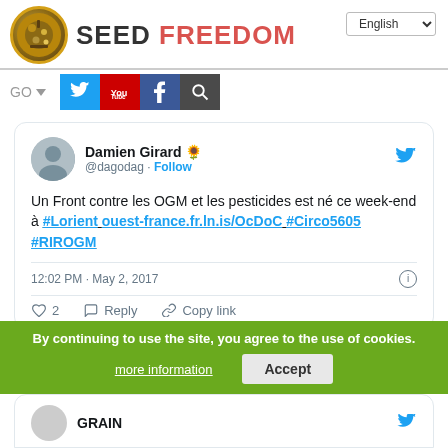SEED FREEDOM - English
[Figure (screenshot): Tweet by Damien Girard (@dagodag) with sunflower emoji and Follow button. Tweet text: Un Front contre les OGM et les pesticides est né ce week-end à #Lorient ouest-france.fr.ln.is/OcDoC #Circo5605 #RIROGM. Time: 12:02 PM · May 2, 2017. Actions: 2 likes, Reply, Copy link.]
By continuing to use the site, you agree to the use of cookies.
more information
Accept
GRAIN